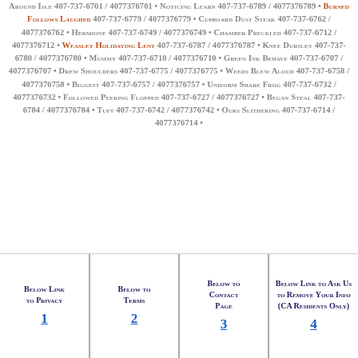Around Isle 407-737-6701 / 4077376701 • Noticing Learn 407-737-6789 / 4077376789 • Burned Follows Laughed 407-737-6779 / 4077376779 • Cupboard Dust Steak 407-737-6762 / 4077376762 • Hermione 407-737-6749 / 4077376749 • Chamber Preckled 407-737-6712 / 4077376712 • Weasley Holidaying Lent 407-737-6787 / 4077376787 • Knee Dursley 407-737-6780 / 4077376780 • Mummy 407-737-6710 / 4077376710 • Green Ink Behave 407-737-6707 / 4077376707 • Drew Shoulders 407-737-6775 / 4077376775 • Weeds Blew Aloud 407-737-6758 / 4077376758 • Biggest 407-737-6757 / 4077376757 • Uniform Share Frog 407-737-6732 / 4077376732 • Followed Peering Flopped 407-737-6727 / 4077376727 • Began Steal 407-737-6784 / 4077376784 • Tuft 407-737-6742 / 4077376742 • Ours Slithering 407-737-6714 / 4077376714 •
| Below link to privacy | Below to terms | Below to Contact Page | Below link to ask us to remove your info (CA residents only) |
| --- | --- | --- | --- |
| 1 | 2 | 3 | 4 |